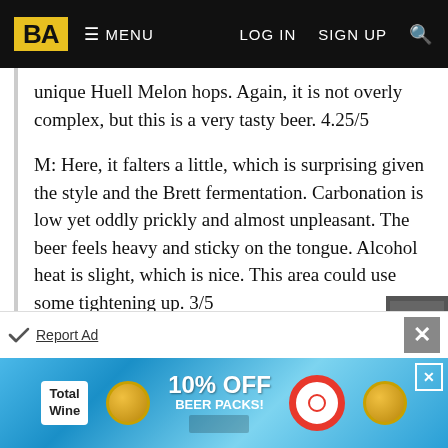BA | MENU | LOG IN | SIGN UP
unique Huell Melon hops. Again, it is not overly complex, but this is a very tasty beer. 4.25/5
M: Here, it falters a little, which is surprising given the style and the Brett fermentation. Carbonation is low yet oddly prickly and almost unpleasant. The beer feels heavy and sticky on the tongue. Alcohol heat is slight, which is nice. This area could use some tightening up. 3/5
O: This is a very fine biere de garde, and it is great to see the style in a can. It is even better to see this be a brewery's flagship beer. The Brett fermentation really adds something to the style (even if it loses some of the nice Belgian esters that a different, more typical yeast would bring). This is a really nice local option alongside Off Color's more traditional Le Woof, and it is the best
[Figure (other): Total Wine advertisement banner with 10% OFF BEER PACKS offer, blue water background with coins and lifebuoy]
Report Ad